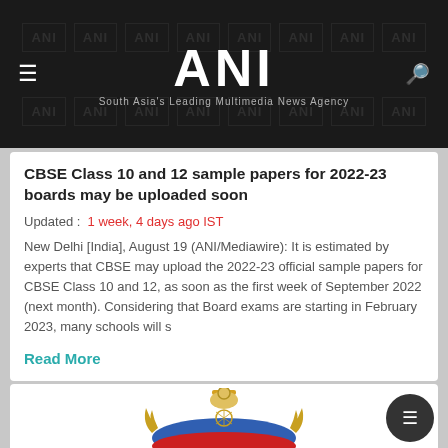ANI — South Asia's Leading Multimedia News Agency
CBSE Class 10 and 12 sample papers for 2022-23 boards may be uploaded soon
Updated : 1 week, 4 days ago IST
New Delhi [India], August 19 (ANI/Mediawire): It is estimated by experts that CBSE may upload the 2022-23 official sample papers for CBSE Class 10 and 12, as soon as the first week of September 2022 (next month). Considering that Board exams are starting in February 2023, many schools will s
Read More
[Figure (logo): Government of India emblem / police badge logo at bottom of page]